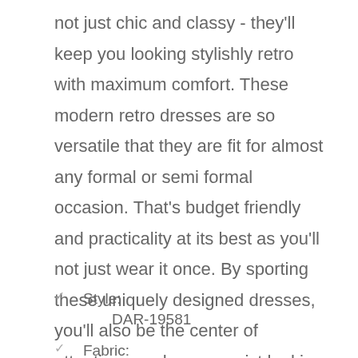not just chic and classy - they'll keep you looking stylishly retro with maximum comfort. These modern retro dresses are so versatile that they are fit for almost any formal or semi formal occasion. That's budget friendly and practicality at its best as you'll not just wear it once. By sporting these uniquely designed dresses, you'll also be the center of attention as who can resist looking at such cute dresses. From floral dresses to lace and abstract print dresses, there's something for everyone!
Style: DAR-19581
Fabric: